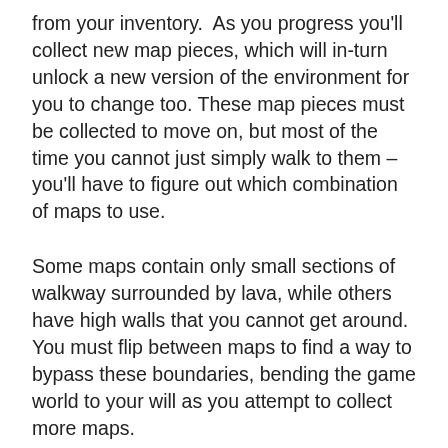from your inventory.  As you progress you'll collect new map pieces, which will in-turn unlock a new version of the environment for you to change too. These map pieces must be collected to move on, but most of the time you cannot just simply walk to them – you'll have to figure out which combination of maps to use.
Some maps contain only small sections of walkway surrounded by lava, while others have high walls that you cannot get around. You must flip between maps to find a way to bypass these boundaries, bending the game world to your will as you attempt to collect more maps.
Taking around five minutes to complete, it's a very clever piece of game design that we'd love